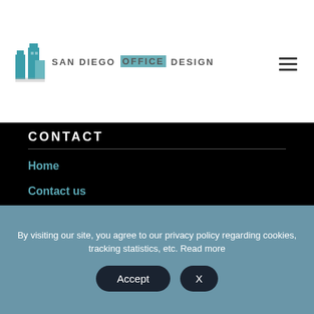[Figure (logo): San Diego Office Design logo with stylized teal building graphic and text 'san diego OFFICE design']
CONTACT
Home
Contact us
Terms
Book a FREE 20 minute call
Email us
By visiting our site, you agree to our privacy policy regarding cookies, tracking statistics, etc. Read more
Accept   X